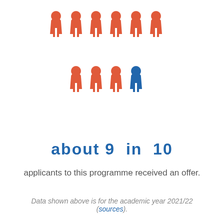[Figure (infographic): 10 person icons arranged in two rows: 9 red figures and 1 blue figure, illustrating 9 in 10 ratio. Top row has 6 red figures, bottom row has 3 red figures and 1 blue figure.]
about 9 in 10
applicants to this programme received an offer.
Data shown above is for the academic year 2021/22 (sources).